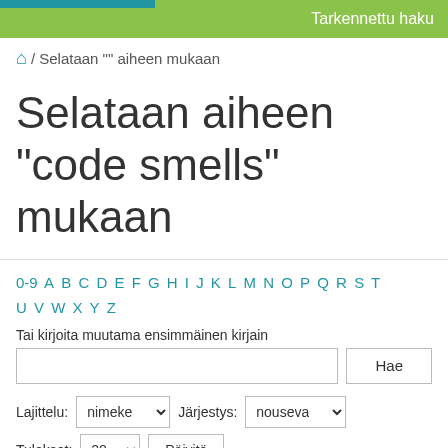Tarkennettu haku
🏠 / Selataan "" aiheen mukaan
Selataan aiheen "code smells" mukaan
0-9 A B C D E F G H I J K L M N O P Q R S T U V W X Y Z
Tai kirjoita muutama ensimmäinen kirjain
Hae
Lajittelu: nimeke   Järjestys: nouseva
Tulokset: 20   Päivitä